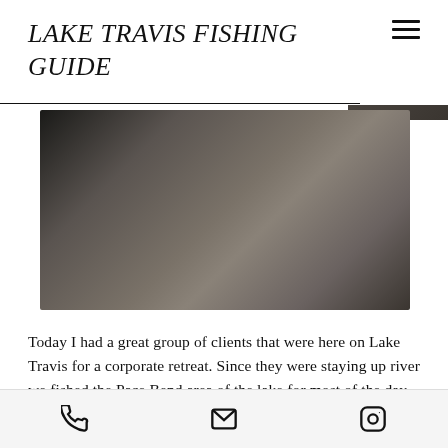LAKE TRAVIS FISHING GUIDE
[Figure (photo): A blurred outdoor/lake scene photograph in muted earthy tones, used as a hero banner image for the Lake Travis Fishing Guide website.]
Today I had a great group of clients that were here on Lake Travis for a corporate retreat. Since they were staying up river we fished the Pace Bend area of the lake for most of the day. If you fish Travis at all you know
Phone, Email, and Instagram contact icons